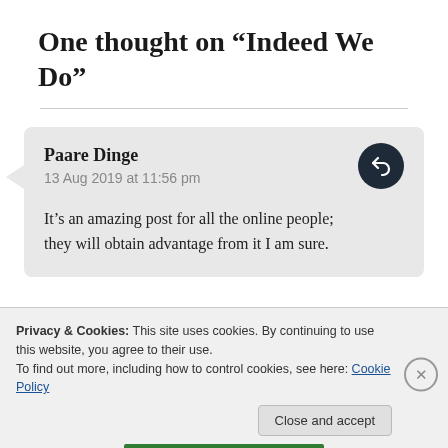One thought on “Indeed We Do”
Paare Dinge
13 Aug 2019 at 11:56 pm

It’s an amazing post for all the online people; they will obtain advantage from it I am sure.
Privacy & Cookies: This site uses cookies. By continuing to use this website, you agree to their use.
To find out more, including how to control cookies, see here: Cookie Policy